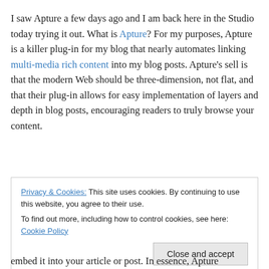I saw Apture a few days ago and I am back here in the Studio today trying it out. What is Apture? For my purposes, Apture is a killer plug-in for my blog that nearly automates linking multi-media rich content into my blog posts. Apture's sell is that the modern Web should be three-dimension, not flat, and that their plug-in allows for easy implementation of layers and depth in blog posts, encouraging readers to truly browse your content.
Privacy & Cookies: This site uses cookies. By continuing to use this website, you agree to their use. To find out more, including how to control cookies, see here: Cookie Policy
embed it into your article or post. In essence, Apture